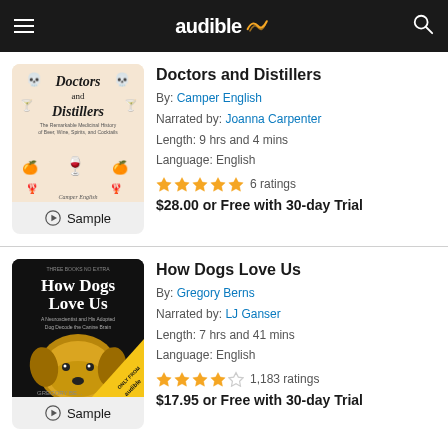audible
Doctors and Distillers
By: Camper English
Narrated by: Joanna Carpenter
Length: 9 hrs and 4 mins
Language: English
★★★★★ 6 ratings
$28.00 or Free with 30-day Trial
How Dogs Love Us
By: Gregory Berns
Narrated by: LJ Ganser
Length: 7 hrs and 41 mins
Language: English
★★★★☆ 1,183 ratings
$17.95 or Free with 30-day Trial